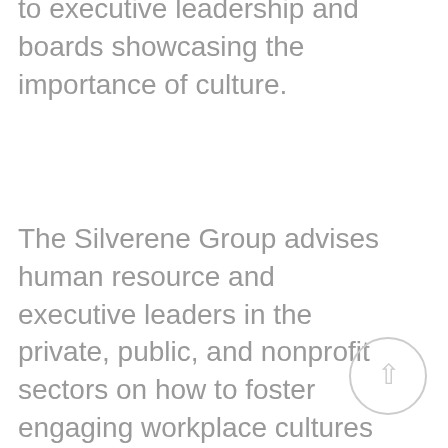to executive leadership and boards showcasing the importance of culture.
The Silverene Group advises human resource and executive leaders in the private, public, and nonprofit sectors on how to foster engaging workplace cultures as the backbone of organization goals. Roman creates programs that enhance communication, processes, and policies, while maximizing the employee experience. Prior to founding The Silverene Group, Shaara held executive leadership positions with Allied